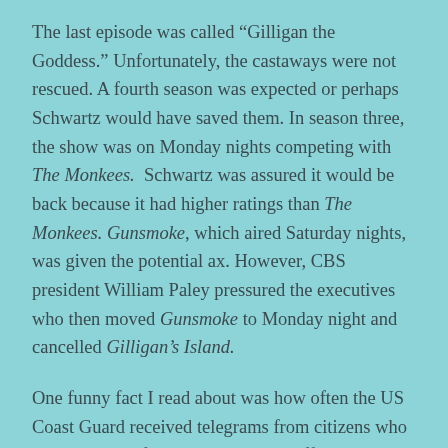The last episode was called “Gilligan the Goddess.” Unfortunately, the castaways were not rescued. A fourth season was expected or perhaps Schwartz would have saved them. In season three, the show was on Monday nights competing with The Monkees.  Schwartz was assured it would be back because it had higher ratings than The Monkees. Gunsmoke, which aired Saturday nights, was given the potential ax. However, CBS president William Paley pressured the executives who then moved Gunsmoke to Monday night and cancelled Gilligan’s Island.
One funny fact I read about was how often the US Coast Guard received telegrams from citizens who were pleading for them to make an effort to rescue the cast from Gilligan's Island. The Coast Guard sent these